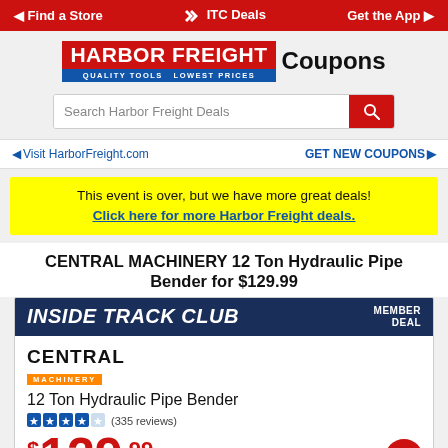Find a Store | ITC Deals | Get the App
[Figure (logo): Harbor Freight Coupons logo with red background and blue tagline 'Quality Tools Lowest Prices']
Search Harbor Freight Deals
Visit HarborFreight.com  GET NEW COUPONS
This event is over, but we have more great deals! Click here for more Harbor Freight deals.
CENTRAL MACHINERY 12 Ton Hydraulic Pipe Bender for $129.99
[Figure (infographic): Inside Track Club Member Deal banner with Central Machinery 12 Ton Hydraulic Pipe Bender product listing showing 3.5 star rating (335 reviews) and price $129.99]